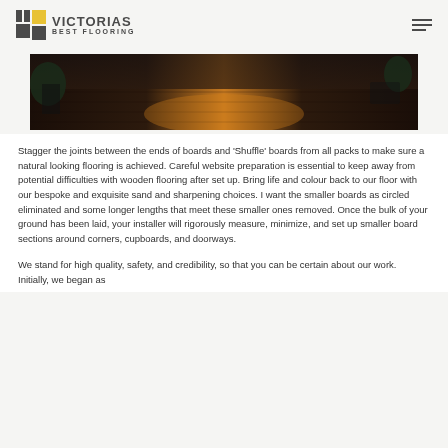VICTORIAS BEST FLOORING
[Figure (photo): Interior room with dark hardwood flooring reflecting warm light, plants visible at sides]
Stagger the joints between the ends of boards and 'Shuffle' boards from all packs to make sure a natural looking flooring is achieved. Careful website preparation is essential to keep away from potential difficulties with wooden flooring after set up. Bring life and colour back to our floor with our bespoke and exquisite sand and sharpening choices. I want the smaller boards as circled eliminated and some longer lengths that meet these smaller ones removed. Once the bulk of your ground has been laid, your installer will rigorously measure, minimize, and set up smaller board sections around corners, cupboards, and doorways.
We stand for high quality, safety, and credibility, so that you can be certain about our work. Initially, we began as